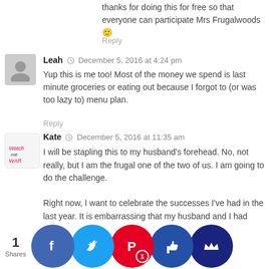thanks for doing this for free so that everyone can participate Mrs Frugalwoods 🙂
Reply
Leah  December 5, 2016 at 4:24 pm
Yup this is me too! Most of the money we spend is last minute groceries or eating out because I forgot to (or was too lazy to) menu plan.
Reply
Kate  December 5, 2016 at 11:35 am
I will be stapling this to my husband's forehead. No, not really, but I am the frugal one of the two of us. I am going to do the challenge.

Right now, I want to celebrate the successes I've had in the last year. It is embarrassing that my husband and I had several credit cards at the beginning of the year. One: 12,000. Two: 8,000. Three: 9,000. We make way too much money for this. Now, through tax return payment, tuition reimbursement that work, and work p... that wi... e 3000... th... ff Dece... nd a lo... rtime. ... nd off.